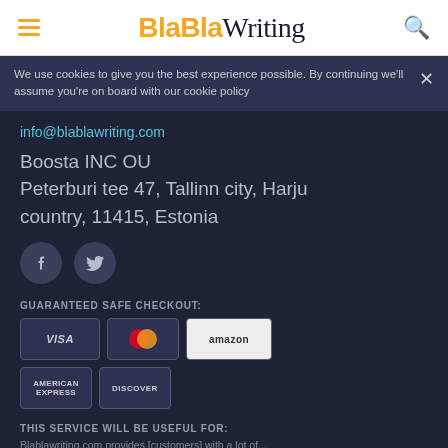BlaBlaWriting
We use cookies to give you the best experience possible. By continuing we'll assume you're on board with our cookie policy
info@blablawriting.com
Boosta INC OU
Peterburi tee 47, Tallinn city, Harju country, 11415, Estonia
[Figure (other): Facebook and Twitter social media icons (circular grey buttons)]
GUARANTEED SAFE CHECKOUT:
[Figure (other): Payment method badges: VISA, MasterCard, amazon, American Express, Discover]
THIS SERVICE WILL BE USEFUL FOR:
Blablawriting.com provides [customers] with a lot of...